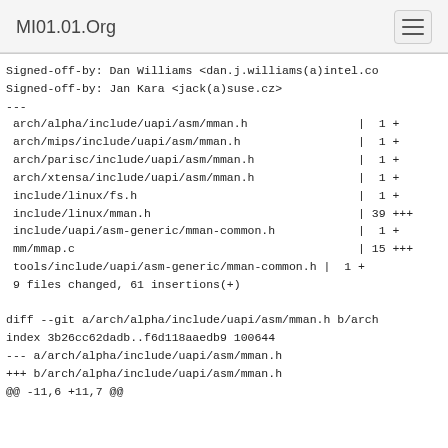MI01.01.Org
Signed-off-by: Dan Williams <dan.j.williams(a)intel.co
Signed-off-by: Jan Kara <jack(a)suse.cz&gt;
---
 arch/alpha/include/uapi/asm/mman.h                |  1 +
 arch/mips/include/uapi/asm/mman.h                 |  1 +
 arch/parisc/include/uapi/asm/mman.h               |  1 +
 arch/xtensa/include/uapi/asm/mman.h               |  1 +
 include/linux/fs.h                                |  1 +
 include/linux/mman.h                              | 39 +++
 include/uapi/asm-generic/mman-common.h            |  1 +
 mm/mmap.c                                         | 15 +++
 tools/include/uapi/asm-generic/mman-common.h |  1 +
 9 files changed, 61 insertions(+)

diff --git a/arch/alpha/include/uapi/asm/mman.h b/arch
index 3b26cc62dadb..f6d118aaedb9 100644
--- a/arch/alpha/include/uapi/asm/mman.h
+++ b/arch/alpha/include/uapi/asm/mman.h
@@ -11,6 +11,7 @@